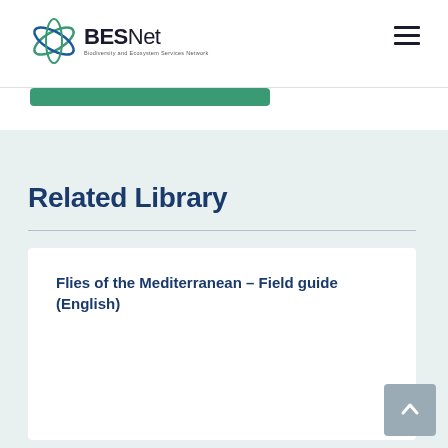BESNet – Biodiversity and Ecosystem Services Network
Related Library
Flies of the Mediterranean – Field guide (English)